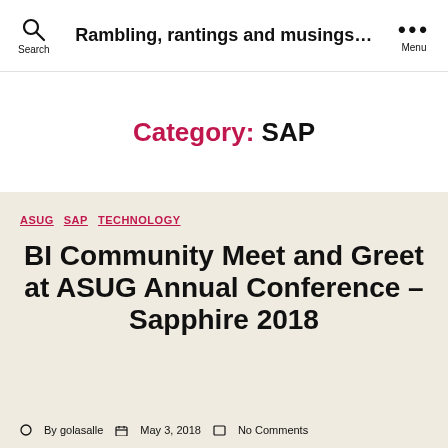Search | Rambling, rantings and musings... | Menu
Category: SAP
ASUG  SAP  TECHNOLOGY
BI Community Meet and Greet at ASUG Annual Conference – Sapphire 2018
By golasalle   May 3, 2018   No Comments